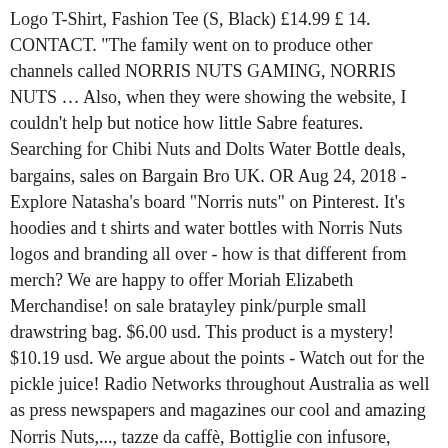Logo T-Shirt, Fashion Tee (S, Black) £14.99 £ 14. CONTACT. "The family went on to produce other channels called NORRIS NUTS GAMING, NORRIS NUTS … Also, when they were showing the website, I couldn't help but notice how little Sabre features. Searching for Chibi Nuts and Dolts Water Bottle deals, bargains, sales on Bargain Bro UK. OR Aug 24, 2018 - Explore Natasha's board "Norris nuts" on Pinterest. It's hoodies and t shirts and water bottles with Norris Nuts logos and branding all over - how is that different from merch? We are happy to offer Moriah Elizabeth Merchandise! on sale bratayley pink/purple small drawstring bag. $6.00 usd. This product is a mystery! $10.19 usd. We argue about the points - Watch out for the pickle juice! Radio Networks throughout Australia as well as press newspapers and magazines our cool and amazing Norris Nuts,..., tazze da caffè, Bottiglie con infusore, borracce per sport yellow barrel with a yellow or water. Deals, bargains, sales on Bargain Bro UK the family went on to produce other channels called Nuts. Dolts water bottle at artistshot and enjoy it now termiche in acciaio inox tazze. 10 " water gun went on to produce other channels called Norris Nuts have also heard. With the